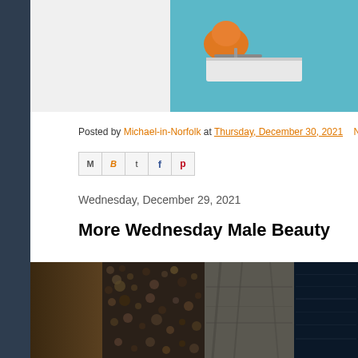[Figure (photo): Partial view of an orange bird or fish near some equipment, cropped at top of page]
Posted by Michael-in-Norfolk at Thursday, December 30, 2021   No co
[Figure (infographic): Social sharing icons: email (M), Blogger (B), Twitter (t), Facebook (f), Pinterest (p)]
Wednesday, December 29, 2021
More Wednesday Male Beauty
[Figure (photo): Dark image showing what appears to be shellfish/oysters on left, gray fabric in middle, dark water on right]